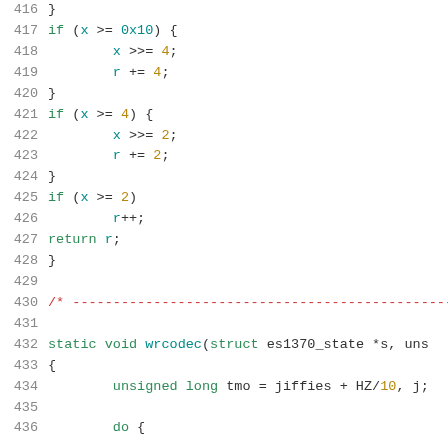416  }
417  if (x >= 0x10) {
418      x >>= 4;
419      r += 4;
420  }
421  if (x >= 4) {
422      x >>= 2;
423      r += 2;
424  }
425  if (x >= 2)
426      r++;
427  return r;
428  }
429  
430  /* ---...
431  
432  static void wrcodec(struct es1370_state *s, uns
433  {
434      unsigned long tmo = jiffies + HZ/10, j;
435  
436  do {